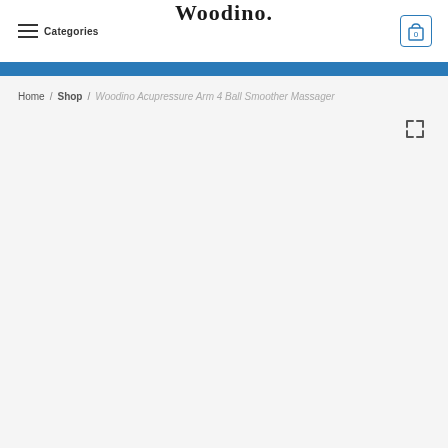Categories  Woodino.  0
Home / Shop / Woodino Acupressure Arm 4 Ball Smoother Massager
[Figure (other): Expand/fullscreen icon (four arrows pointing outward)]